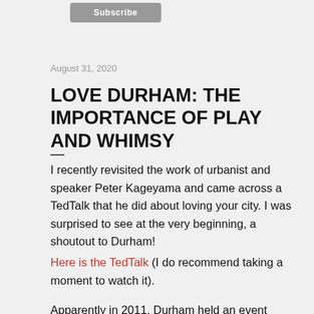[Figure (other): Subscribe button, gray rounded rectangle with white text]
August 31, 2020
LOVE DURHAM: THE IMPORTANCE OF PLAY AND WHIMSY
—
I recently revisited the work of urbanist and speaker Peter Kageyama and came across a TedTalk that he did about loving your city. I was surprised to see at the very beginning, a shoutout to Durham!
Here is the TedTalk (I do recommend taking a moment to watch it).
Apparently in 2011, Durham held an event